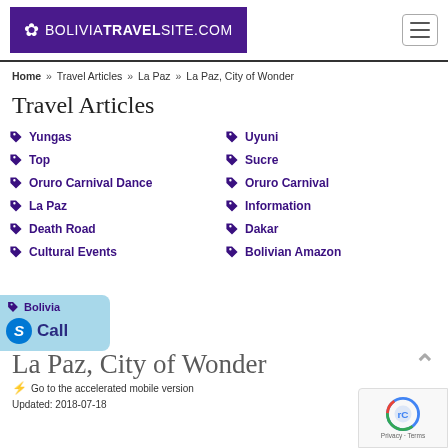BOLIVIATRAVELSITE.COM
Home » Travel Articles » La Paz » La Paz, City of Wonder
Travel Articles
Yungas
Uyuni
Top
Sucre
Oruro Carnival Dance
Oruro Carnival
La Paz
Information
Death Road
Dakar
Cultural Events
Bolivian Amazon
Bolivia
La Paz, City of Wonder
Go to the accelerated mobile version
Updated: 2018-07-18